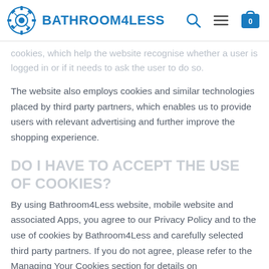BATHROOM4LESS
cookies, which help the website recognise whether a user is logged in or if it needs to ask the user to do so.
The website also employs cookies and similar technologies placed by third party partners, which enables us to provide users with relevant advertising and further improve the shopping experience.
DO I HAVE TO ACCEPT THE USE OF COOKIES?
By using Bathroom4Less website, mobile website and associated Apps, you agree to our Privacy Policy and to the use of cookies by Bathroom4Less and carefully selected third party partners. If you do not agree, please refer to the Managing Your Cookies section for details on